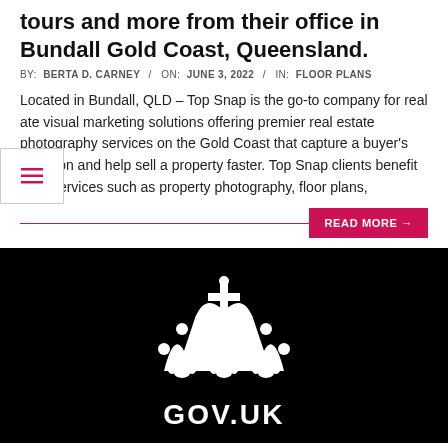tours and more from their office in Bundall Gold Coast, Queensland.
BY: BERTA D. CARNEY / ON: JUNE 3, 2022 / IN: FLOOR PLANS
Located in Bundall, QLD – Top Snap is the go-to company for real ate visual marketing solutions offering premier real estate photography services on the Gold Coast that capture a buyer's attention and help sell a property faster. Top Snap clients benefit from services such as property photography, floor plans,
[Figure (logo): GOV.UK logo - white crown symbol and GOV.UK text on black background]